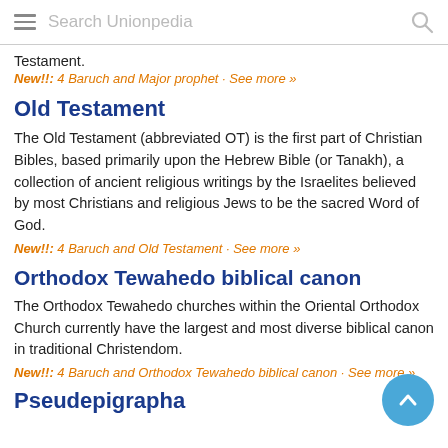Search Unionpedia
Testament.
New!!: 4 Baruch and Major prophet · See more »
Old Testament
The Old Testament (abbreviated OT) is the first part of Christian Bibles, based primarily upon the Hebrew Bible (or Tanakh), a collection of ancient religious writings by the Israelites believed by most Christians and religious Jews to be the sacred Word of God.
New!!: 4 Baruch and Old Testament · See more »
Orthodox Tewahedo biblical canon
The Orthodox Tewahedo churches within the Oriental Orthodox Church currently have the largest and most diverse biblical canon in traditional Christendom.
New!!: 4 Baruch and Orthodox Tewahedo biblical canon · See more »
Pseudepigrapha